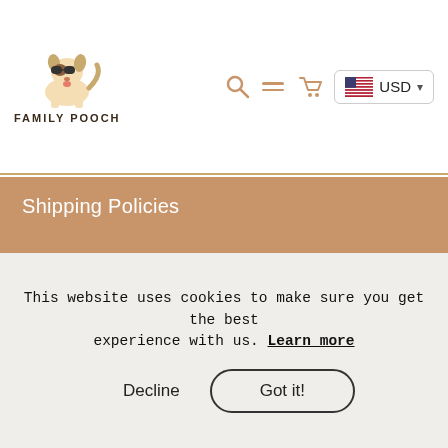[Figure (logo): Family Pooch logo with cartoon dog and text FAMILY POOCH]
[Figure (screenshot): Header icons: search icon, hamburger menu, cart icon, and USD currency selector with US flag]
Shipping Policies
Track Order
Refund policy
Referral Dashboard
Terms of Service
Do not sell my personal information
This website uses cookies to make sure you get the best experience with us. Learn more
Decline
Got it!